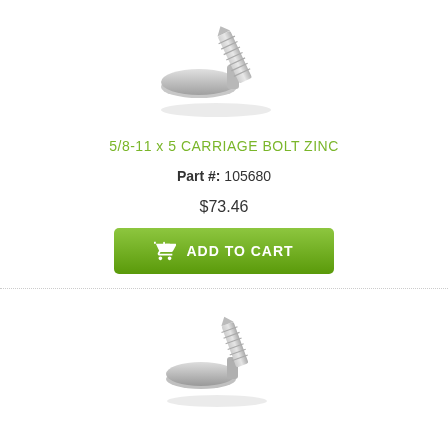[Figure (photo): Zinc carriage bolt photograph, angled view showing flat mushroom head and threaded shaft, silver metallic finish]
5/8-11 x 5 CARRIAGE BOLT ZINC
Part #: 105680
$73.46
ADD TO CART
[Figure (photo): Second zinc carriage bolt photograph, angled view showing flat mushroom head and threaded shaft, silver metallic finish, shorter perspective]